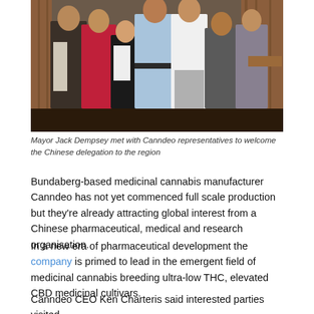[Figure (photo): Group photo of Mayor Jack Dempsey with Canndeo representatives and a Chinese delegation standing indoors]
Mayor Jack Dempsey met with Canndeo representatives to welcome the Chinese delegation to the region
Bundaberg-based medicinal cannabis manufacturer Canndeo has not yet commenced full scale production but they’re already attracting global interest from a Chinese pharmaceutical, medical and research organisation.
In a new era of pharmaceutical development the company is primed to lead in the emergent field of medicinal cannabis breeding ultra-low THC, elevated CBD medicinal cultivars.
Canndeo CEO Ken Charteris said interested parties visited